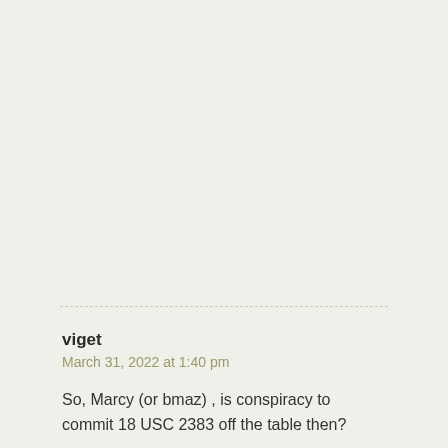viget
March 31, 2022 at 1:40 pm
So, Marcy (or bmaz) , is conspiracy to commit 18 USC 2383 off the table then?